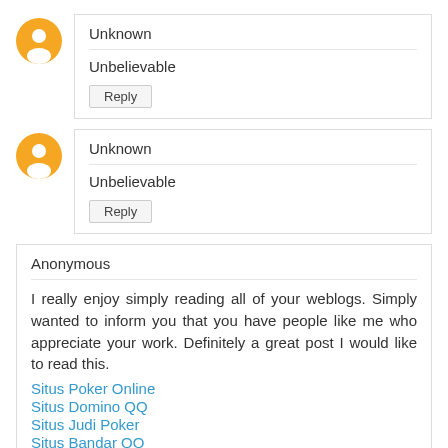Unknown
Unbelievable
Reply
Unknown
Unbelievable
Reply
Anonymous
I really enjoy simply reading all of your weblogs. Simply wanted to inform you that you have people like me who appreciate your work. Definitely a great post I would like to read this.
Situs Poker Online
Situs Domino QQ
Situs Judi Poker
Situs Bandar QQ